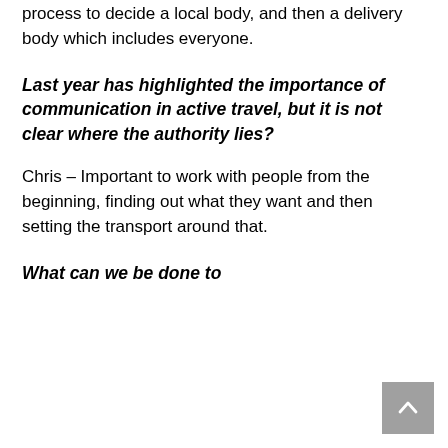process to decide a local body, and then a delivery body which includes everyone.
Last year has highlighted the importance of communication in active travel, but it is not clear where the authority lies?
Chris – Important to work with people from the beginning, finding out what they want and then setting the transport around that.
What can we be done to